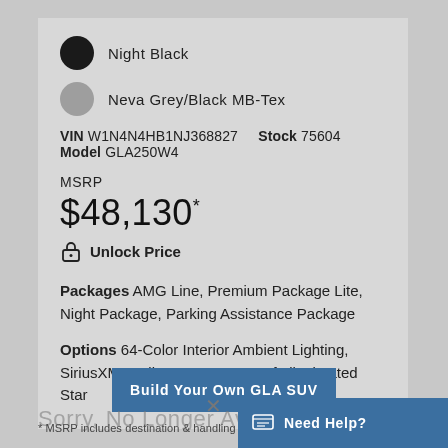Night Black
Neva Grey/Black MB-Tex
VIN W1N4N4HB1NJ368827   Stock 75604   Model GLA250W4
MSRP
$48,130*
Unlock Price
Packages AMG Line, Premium Package Lite, Night Package, Parking Assistance Package
Options 64-Color Interior Ambient Lighting, SiriusXM Radio, Panorama Roof, Illunimated Star
Build Your Own GLA SUV
Sorry, No Longer Available
* MSRP includes destination & handling